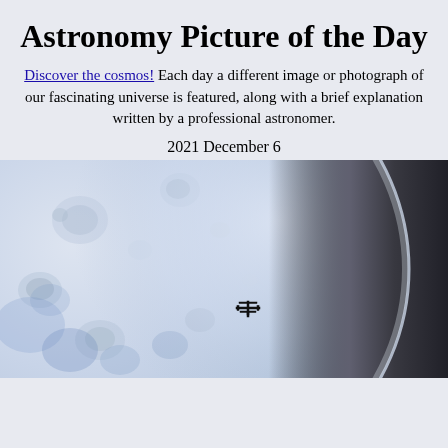Astronomy Picture of the Day
Discover the cosmos! Each day a different image or photograph of our fascinating universe is featured, along with a brief explanation written by a professional astronomer.
2021 December 6
[Figure (photo): Close-up photograph of the Moon's surface showing craters and blue-tinted regions, with the ISS silhouette visible in transit against the lunar disk, and dark space/shadow on the right side.]